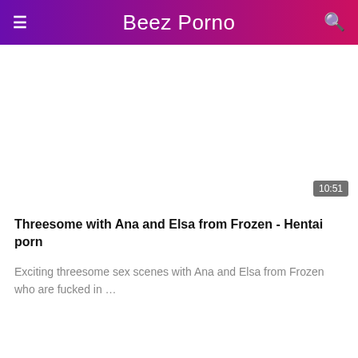Beez Porno
[Figure (screenshot): Video thumbnail placeholder with duration badge showing 10:51]
Threesome with Ana and Elsa from Frozen - Hentai porn
Exciting threesome sex scenes with Ana and Elsa from Frozen who are fucked in …